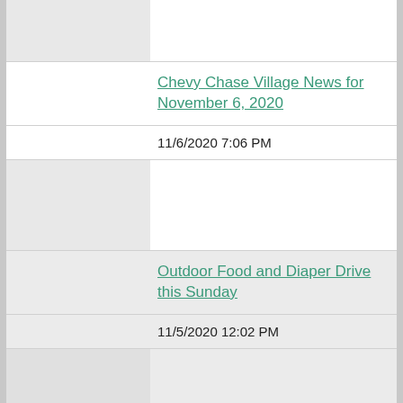[Figure (photo): Thumbnail image placeholder for Chevy Chase Village News article (white background card, top)]
Chevy Chase Village News for November 6, 2020
11/6/2020 7:06 PM
[Figure (photo): Thumbnail image placeholder for Outdoor Food and Diaper Drive article (gray background card)]
Outdoor Food and Diaper Drive this Sunday
11/5/2020 12:02 PM
[Figure (photo): Thumbnail image placeholder for It's Not Too Late to Vote Early article (gray background card, bottom)]
It's Not Too Late to Vote Early